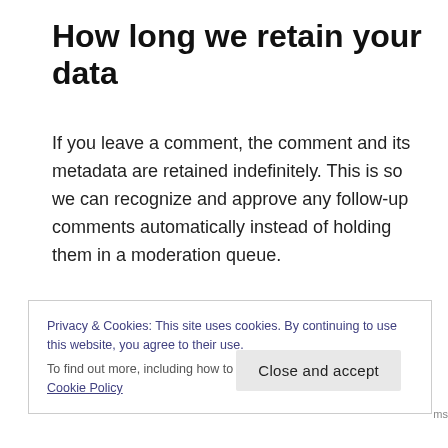How long we retain your data
If you leave a comment, the comment and its metadata are retained indefinitely. This is so we can recognize and approve any follow-up comments automatically instead of holding them in a moderation queue.
For users that register on our website (if any), we also store the personal information they provide in
Privacy & Cookies: This site uses cookies. By continuing to use this website, you agree to their use.
To find out more, including how to control cookies, see here: Cookie Policy
Close and accept